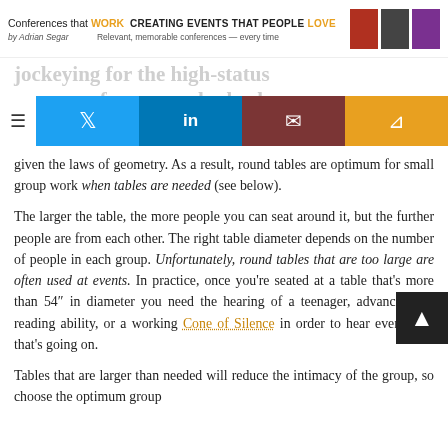Conferences that WORK CREATING EVENTS THAT PEOPLE LOVE by Adrian Segar — Relevant, memorable conferences — every time
jockeying for the high-status everyone faces everybody else
given the laws of geometry. As a result, round tables are optimum for small group work when tables are needed (see below).
The larger the table, the more people you can seat around it, but the further people are from each other. The right table diameter depends on the number of people in each group. Unfortunately, round tables that are too large are often used at events. In practice, once you're seated at a table that's more than 54" in diameter you need the hearing of a teenager, advanced lip-reading ability, or a working Cone of Silence in order to hear everything that's going on.
Tables that are larger than needed will reduce the intimacy of the group, so choose the optimum group